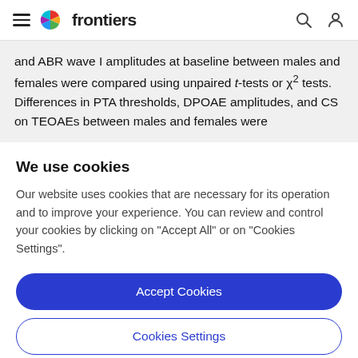frontiers
and ABR wave I amplitudes at baseline between males and females were compared using unpaired t-tests or χ² tests. Differences in PTA thresholds, DPOAE amplitudes, and CS on TEOAEs between males and females were
We use cookies
Our website uses cookies that are necessary for its operation and to improve your experience. You can review and control your cookies by clicking on "Accept All" or on "Cookies Settings".
Accept Cookies
Cookies Settings